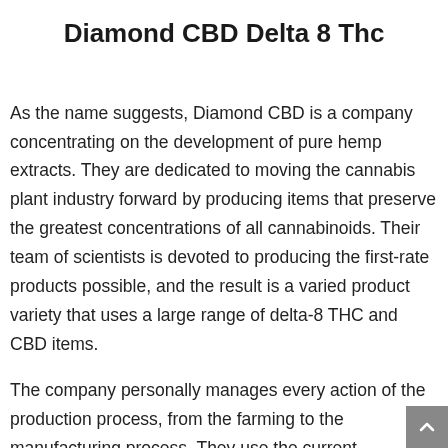Diamond CBD Delta 8 Thc
As the name suggests, Diamond CBD is a company concentrating on the development of pure hemp extracts. They are dedicated to moving the cannabis plant industry forward by producing items that preserve the greatest concentrations of all cannabinoids. Their team of scientists is devoted to producing the first-rate products possible, and the result is a varied product variety that uses a large range of delta-8 THC and CBD items.
The company personally manages every action of the production process, from the farming to the manufacturing process. They use the current technology to guarantee tha…